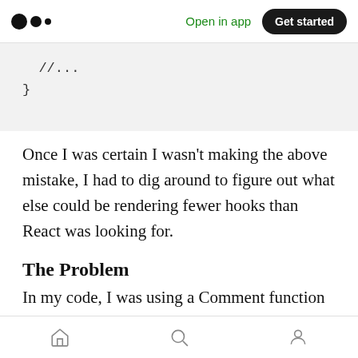Medium — Open in app | Get started
//...
}
Once I was certain I wasn't making the above mistake, I had to dig around to figure out what else could be rendering fewer hooks than React was looking for.
The Problem
In my code, I was using a Comment function component recursively, mapping over a list of top
Home | Search | Profile